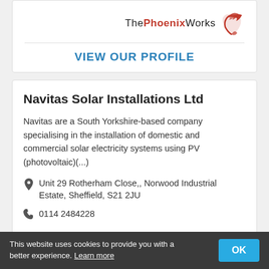[Figure (logo): The PhoenixWorks logo — text 'The PhoenixWorks' with a red stylized phoenix wing icon]
VIEW OUR PROFILE
Navitas Solar Installations Ltd
Navitas are a South Yorkshire-based company specialising in the installation of domestic and commercial solar electricity systems using PV (photovoltaic)(...)
Unit 29 Rotherham Close,, Norwood Industrial Estate, Sheffield, S21 2JU
0114 2484228
This website uses cookies to provide you with a better experience. Learn more